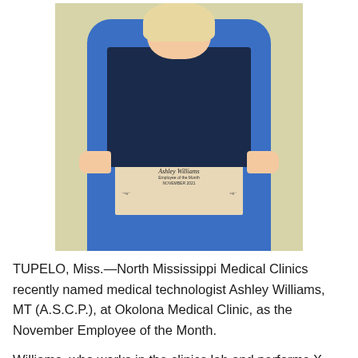[Figure (photo): A woman in blue scrubs holding a certificate award in a dark folder. The certificate reads 'Ashley Williams, Employee of the Month, November 2021' from North Mississippi Medical Clinics.]
TUPELO, Miss.—North Mississippi Medical Clinics recently named medical technologist Ashley Williams, MT (A.S.C.P.), at Okolona Medical Clinic, as the November Employee of the Month.
Williams, who works in the clinics lab and performs X-